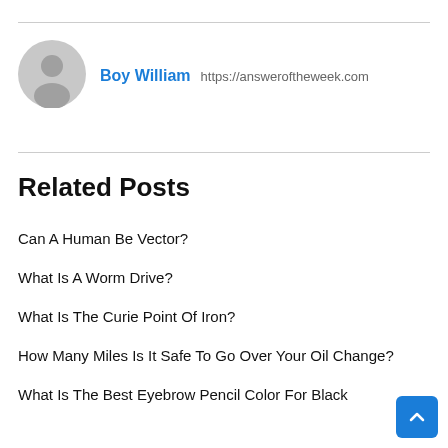[Figure (illustration): Author avatar: circular grey silhouette icon with person outline]
Boy William  https://answeroftheweek.com
Related Posts
Can A Human Be Vector?
What Is A Worm Drive?
What Is The Curie Point Of Iron?
How Many Miles Is It Safe To Go Over Your Oil Change?
What Is The Best Eyebrow Pencil Color For Black